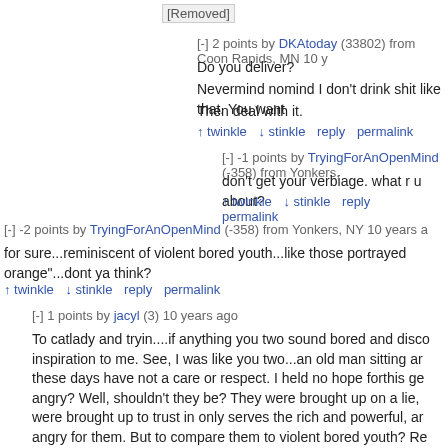[Removed]
[-] 2 points by DKAtoday (33802) from Coon Rapids, MN 10 y
Do you deliver?
Nevermind nomind I don't drink shit like that. You want
Then deal with it.
↑twinkle ↓stinkle reply permalink
[-] -1 points by TryingForAnOpenMind (-358) from Yonkers,
don't get your verbiage. what r u about?
↑twinkle ↓stinkle reply permalink
[-] -2 points by TryingForAnOpenMind (-358) from Yonkers, NY 10 years a
for sure...reminiscent of violent bored youth...like those portrayed orange"...dont ya think?
↑twinkle ↓stinkle reply permalink
[-] 1 points by jacyl (3) 10 years ago
To catlady and tryin....if anything you two sound bored and disco inspiration to me. See, I was like you two...an old man sitting a these days have not a care or respect. I held no hope forthis ge angry? Well, shouldn't they be? They were brought up on a lie, were brought up to trust in only serves the rich and powerful, ar angry for them. But to compare them to violent bored youth? Re the feeds and pass judgement on those who are out there in the yours? Then you come here and redicule them for trying to do s system that tramples their rights? Maybe you two could create a